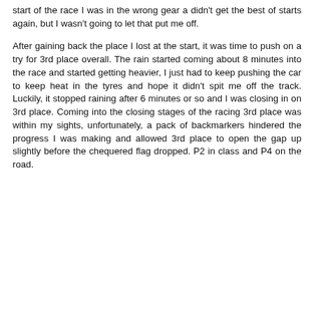start of the race I was in the wrong gear a didn't get the best of starts again, but I wasn't going to let that put me off.
After gaining back the place I lost at the start, it was time to push on a try for 3rd place overall. The rain started coming about 8 minutes into the race and started getting heavier, I just had to keep pushing the car to keep heat in the tyres and hope it didn't spit me off the track. Luckily, it stopped raining after 6 minutes or so and I was closing in on 3rd place. Coming into the closing stages of the racing 3rd place was within my sights, unfortunately, a pack of backmarkers hindered the progress I was making and allowed 3rd place to open the gap up slightly before the chequered flag dropped. P2 in class and P4 on the road.